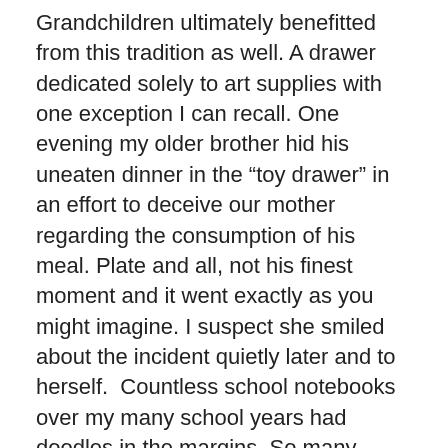Grandchildren ultimately benefitted from this tradition as well. A drawer dedicated solely to art supplies with one exception I can recall. One evening my older brother hid his uneaten dinner in the “toy drawer” in an effort to deceive our mother regarding the consumption of his meal. Plate and all, not his finest moment and it went exactly as you might imagine. I suspect she smiled about the incident quietly later and to herself.  Countless school notebooks over my many school years had doodles in the margins. So many cubes drawn in blue BIC pen.  A form of escape too I suspect.
There is just something simply comfortable, comforting and familiar about drawing for me. Really getting my hands dirty feels like I am truly creating. Bringing a blank white piece of paper to life with just